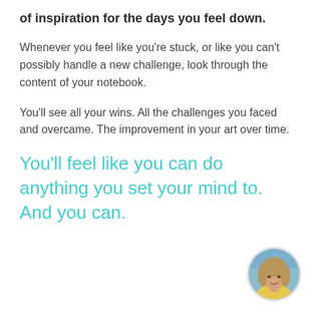of inspiration for the days you feel down.
Whenever you feel like you're stuck, or like you can't possibly handle a new challenge, look through the content of your notebook.
You'll see all your wins. All the challenges you faced and overcame. The improvement in your art over time.
You'll feel like you can do anything you set your mind to. And you can.
[Figure (photo): Circular portrait photo of a woman with light brown hair, wearing a yellow top, with a blue/outdoor background. Used as an author avatar in the bottom right corner.]